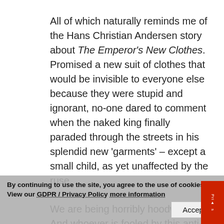All of which naturally reminds me of the Hans Christian Andersen story about The Emperor's New Clothes. Promised a new suit of clothes that would be invisible to everyone else because they were stupid and ignorant, no-one dared to comment when the naked king finally paraded through the streets in his splendid new 'garments' – except a small child, as yet unaffected by the ruse.
We are being horribly hoodwinked. And whoever is fooled by this anti-Christ spirit, or with the Man of Sin himself when he is revealed, will tragically miss the greatest ever of all – when the Lord Jesus will destroy him with the splendour of his coming.